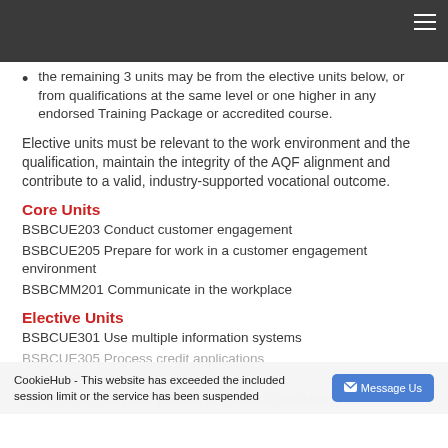the remaining 3 units may be from the elective units below, or from qualifications at the same level or one higher in any endorsed Training Package or accredited course.
Elective units must be relevant to the work environment and the qualification, maintain the integrity of the AQF alignment and contribute to a valid, industry-supported vocational outcome.
Core Units
BSBCUE203 Conduct customer engagement
BSBCUE205 Prepare for work in a customer engagement environment
BSBCMM201 Communicate in the workplace
Elective Units
BSBCUE301 Use multiple information systems
BSBCUE305 Process credit applications
BSBCUE308 Conduct outbound customer service
BSBCUE309 Develop product and service knowledge for
CookieHub - This website has exceeded the included session limit or the service has been suspended